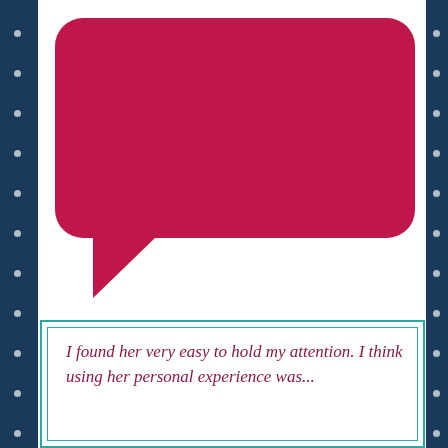[Figure (illustration): A large crimson/red speech bubble (chat bubble) shape with a tail pointing to the lower left, on a white background, inside a page with dark navy blue left and right borders with grey dots.]
I found her very easy to hold my attention. I think using her personal experience was...